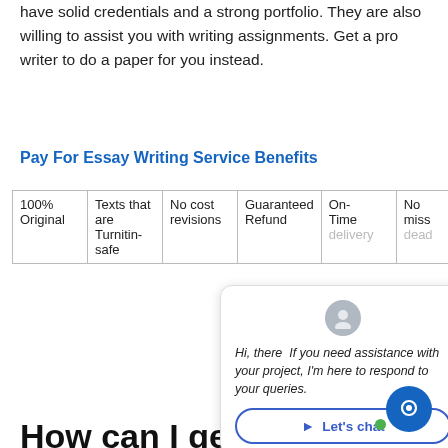have solid credentials and a strong portfolio. They are also willing to assist you with writing assignments. Get a pro writer to do a paper for you instead.
Pay For Essay Writing Service Benefits
| 100% Original | Texts that are Turnitin-safe | No cost revisions | Guaranteed Refund | On-Time delivery | No miss dead- |
| --- | --- | --- | --- | --- | --- |
How can I get a cheap essay?
Register for our services now to get a 15% discount on any paper service. This discount is available for services, including editing, proofreading and writing.
[Figure (screenshot): Chat popup overlay with avatar, message 'Hi, there  If you need assistance with your project, I'm here to respond to your queries.' and 'Let's chat' button]